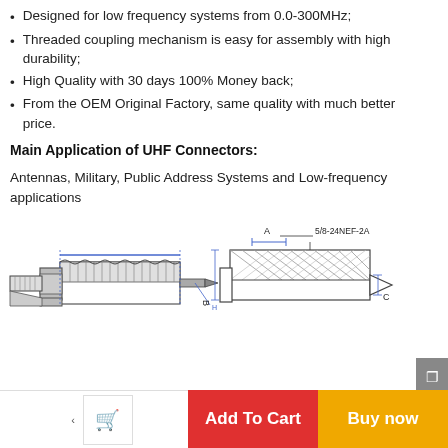Designed for low frequency systems from 0.0-300MHz;
Threaded coupling mechanism is easy for assembly with high durability;
High Quality with 30 days 100% Money back;
From the OEM Original Factory, same quality with much better price.
Main Application of UHF Connectors:
Antennas, Military, Public Address Systems and Low-frequency applications
[Figure (engineering-diagram): Technical engineering drawings of UHF connector showing side profile view (left) with knurled body and pin detail, and dimensional drawing (right) with labels A, B, C and thread specification 5/8-24NEF-2A]
Add To Cart
Buy now